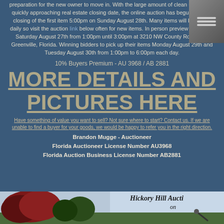preparation for the new owner to move in. With the large amount of clean up and the quickly approaching real estate closing date, the online auction has begun with the closing of the first item 5:00pm on Sunday August 28th. Many items will be added daily so visit the auction link below often for new items. In person preview to be held Saturday August 27th from 1:00pm until 3:00pm at 3210 NW County Road 253, Greenville, Florida. Winning bidders to pick up their items Monday August 29th and Tuesday August 30th from 1:00pm to 6:00pm each day.
10% Buyers Premium - AU 3968 / AB 2881
MORE DETAILS AND PICTURES HERE
Have something of value you want to sell? Not sure where to start? Contact us. If we are unable to find a buyer for your goods, we would be happy to refer you in the right direction.
Brandon Mugge - Auctioneer
Florida Auctioneer License Number AU3968
Florida Auction Business License Number AB2881
[Figure (logo): Hickory Hill Auction logo with trees and company name text in italic]